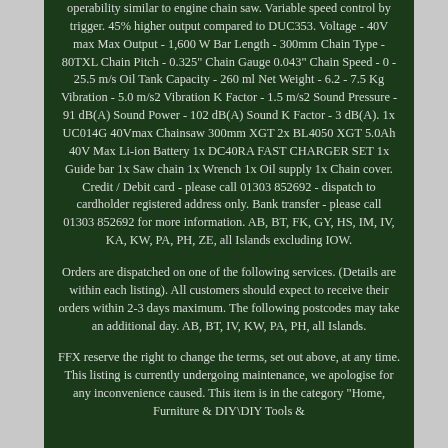operability similar to engine chain saw. Variable speed control by trigger. 45% higher output compared to DUC353. Voltage - 40V max Max Output - 1,600 W Bar Length - 300mm Chain Type - 80TXL Chain Pitch - 0.325" Chain Gauge 0.043" Chain Speed - 0 - 25.5 m/s Oil Tank Capacity - 260 ml Net Weight - 6.2 - 7.5 Kg Vibration - 5.0 m/s2 Vibration K Factor - 1.5 m/s2 Sound Pressure - 91 dB(A) Sound Power - 102 dB(A) Sound K Factor - 3 dB(A). 1x UC014G 40Vmax Chainsaw 300mm XGT 2x BL4050 XGT 5.0Ah 40V Max Li-ion Battery 1x DC40RA FAST CHARGER SET 1x Guide bar 1x Saw chain 1x Wrench 1x Oil supply 1x Chain cover. Credit / Debit card - please call 01303 852692 - dispatch to cardholder registered address only. Bank transfer - please call 01303 852692 for more information. AB, BT, FK, GY, HS, IM, IV, KA, KW, PA, PH, ZE, all Islands excluding IOW.
Orders are dispatched on one of the following services. (Details are within each listing). All customers should expect to receive their orders within 2-3 days maximum. The following postcodes may take an additional day. AB, BT, IV, KW, PA, PH, all Islands.
FFX reserve the right to change the terms, set out above, at any time. This listing is currently undergoing maintenance, we apologise for any inconvenience caused. This item is in the category "Home, Furniture & DIY\DIY Tools &